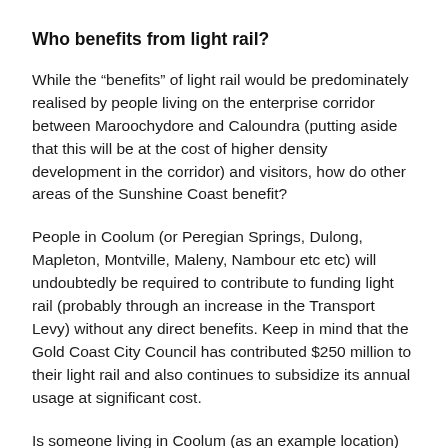Who benefits from light rail?
While the “benefits” of light rail would be predominately realised by people living on the enterprise corridor between Maroochydore and Caloundra (putting aside that this will be at the cost of higher density development in the corridor) and visitors, how do other areas of the Sunshine Coast benefit?
People in Coolum (or Peregian Springs, Dulong, Mapleton, Montville, Maleny, Nambour etc etc) will undoubtedly be required to contribute to funding light rail (probably through an increase in the Transport Levy) without any direct benefits. Keep in mind that the Gold Coast City Council has contributed $250 million to their light rail and also continues to subsidize its annual usage at significant cost.
Is someone living in Coolum (as an example location) going to drive to Maroochydore, find a paid parking spot in [redacted]